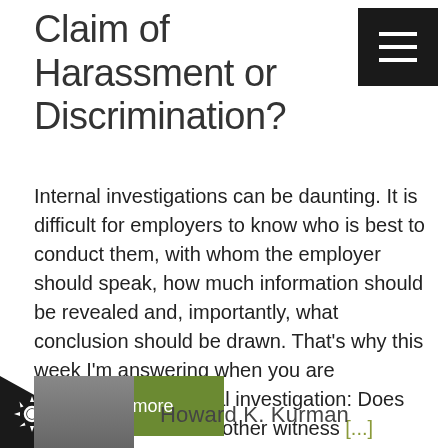Claim of Harassment or Discrimination?
Internal investigations can be daunting. It is difficult for employers to know who is best to conduct them, with whom the employer should speak, how much information should be revealed and, importantly, what conclusion should be drawn. That’s why this week I’m answering when you are conducting an internal investigation: Does an employer need another witness [...]
Read more
Howard K. Kurman